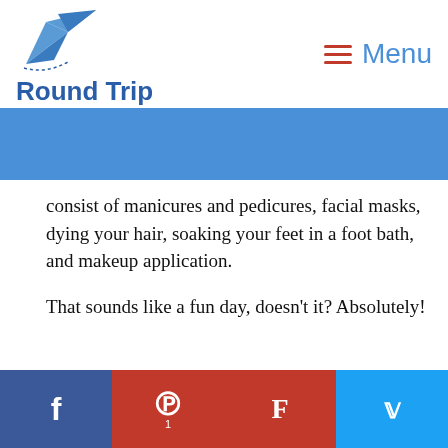[Figure (logo): Round Trip paper airplane logo with blue paper plane icon and 'Round Trip' text in blue]
[Figure (other): Hamburger menu icon (three red lines) followed by 'Menu' text in light blue]
[Figure (other): Blue banner strip]
consist of manicures and pedicures, facial masks, dying your hair, soaking your feet in a foot bath, and makeup application.
That sounds like a fun day, doesn't it? Absolutely!
[Figure (photo): Person lying down holding a red object, photo partially visible]
[Figure (other): Social media share bar with Facebook, Pinterest (1), Flipboard, and Twitter buttons]